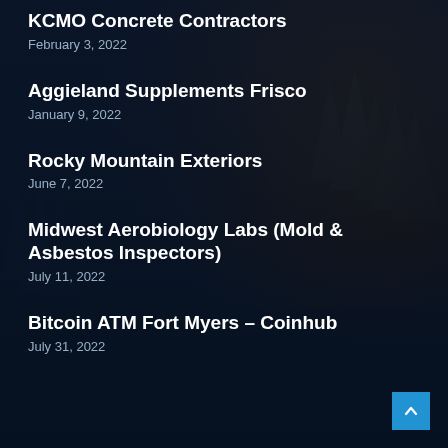KCMO Concrete Contractors
February 3, 2022
Aggieland Supplements Frisco
January 9, 2022
Rocky Mountain Exteriors
June 7, 2022
Midwest Aerobiology Labs (Mold & Asbestos Inspectors)
July 11, 2022
Bitcoin ATM Fort Myers – Coinhub
July 31, 2022